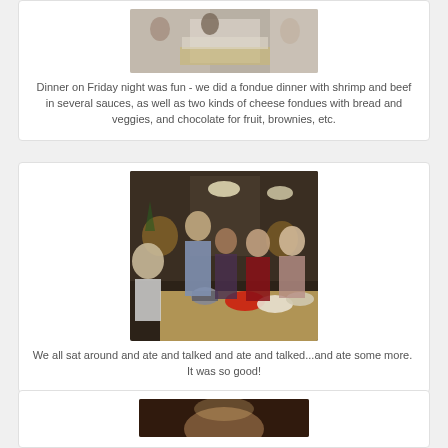[Figure (photo): People standing around a kitchen island, cropped top portion visible]
Dinner on Friday night was fun - we did a fondue dinner with shrimp and beef in several sauces, as well as two kinds of cheese fondues with bread and veggies, and chocolate for fruit, brownies, etc.
[Figure (photo): Group of people sitting around a kitchen island with fondue pots and food, eating and talking]
We all sat around and ate and talked and ate and talked...and ate some more.  It was so good!
[Figure (photo): Partial view of another photo, bottom of page, dark tones]